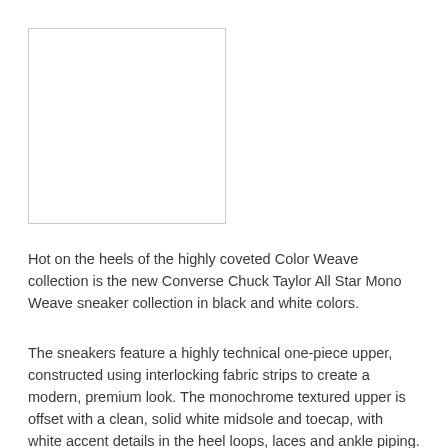[Figure (other): Empty white rectangle with light gray border, serving as an image placeholder for a product photo]
Hot on the heels of the highly coveted Color Weave collection is the new Converse Chuck Taylor All Star Mono Weave sneaker collection in black and white colors.
The sneakers feature a highly technical one-piece upper, constructed using interlocking fabric strips to create a modern, premium look. The monochrome textured upper is offset with a clean, solid white midsole and toecap, with white accent details in the heel loops, laces and ankle piping. Tasteful leather